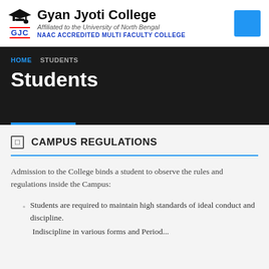Gyan Jyoti College — Affiliated to the University of North Bengal — NAAC ACCREDITED MULTI FACULTY COLLEGE
HOME  STUDENTS
Students
CAMPUS REGULATIONS
Admission to the College binds a student to observe the rules and regulations inside the Campus:
Students are required to maintain high standards of ideal conduct and discipline.
Indiscipline in various forms and ...